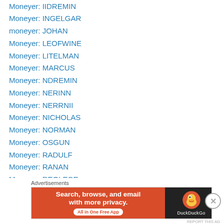Moneyer: IIDREMIN
Moneyer: INGELGAR
moneyer: JOHAN
Moneyer: LEOFWINE
Moneyer: LITELMAN
Moneyer: MARCUS
Moneyer: NDREMIN
Moneyer: NERINN
Moneyer: NERRNII
Moneyer: NICHOLAS
Moneyer: NORMAN
Moneyer: OSGUN
Moneyer: RADULF
Moneyer: RANAN
Moneyer: REOLECE
Moneyer: RICARD (of Dublin)
[Figure (screenshot): DuckDuckGo advertisement banner: orange left panel with text 'Search, browse, and email with more privacy. All in One Free App', dark right panel with DuckDuckGo duck logo and brand name.]